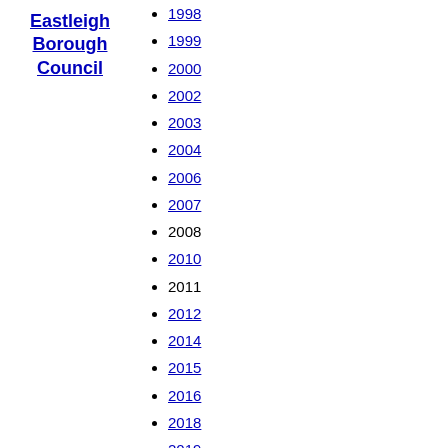Eastleigh Borough Council
1998
1999
2000
2002
2003
2004
2006
2007
2008
2010
2011
2012
2014
2015
2016
2018
2019
2021
2022
1973
1976
1979
1980
1982